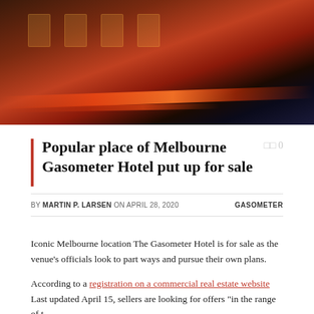[Figure (photo): Night-time exterior photo of a red brick hotel building (Gasometer Hotel) with illuminated windows and light streaks from passing traffic in the foreground.]
Popular place of Melbourne Gasometer Hotel put up for sale
BY MARTIN P. LARSEN ON APRIL 28, 2020   GASOMETER
Iconic Melbourne location The Gasometer Hotel is for sale as the venue's officials look to part ways and pursue their own plans.
According to a registration on a commercial real estate website Last updated April 15, sellers are looking for offers "in the range of t..."